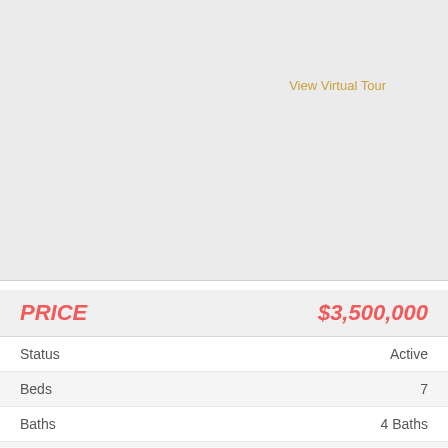[Figure (photo): Large light gray placeholder image area for a property photo]
View Virtual Tour
| Field | Value |
| --- | --- |
| PRICE | $3,500,000 |
| Status | Active |
| Beds | 7 |
| Baths | 4 Baths |
| Home size | 4,393 sqft |